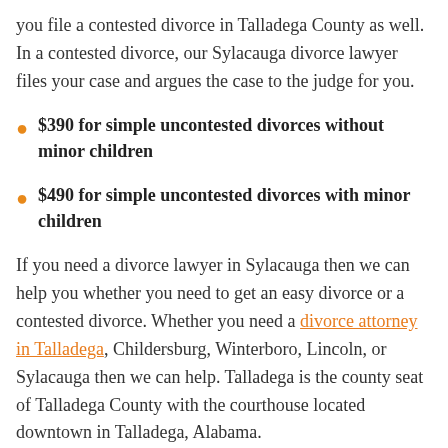you file a contested divorce in Talladega County as well. In a contested divorce, our Sylacauga divorce lawyer files your case and argues the case to the judge for you.
$390 for simple uncontested divorces without minor children
$490 for simple uncontested divorces with minor children
If you need a divorce lawyer in Sylacauga then we can help you whether you need to get an easy divorce or a contested divorce. Whether you need a divorce attorney in Talladega, Childersburg, Winterboro, Lincoln, or Sylacauga then we can help. Talladega is the county seat of Talladega County with the courthouse located downtown in Talladega, Alabama.